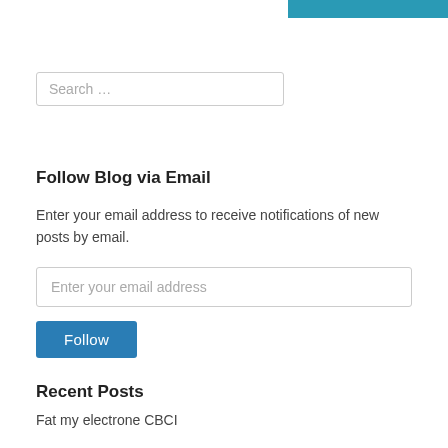[Figure (other): Teal/blue decorative bar in top-right corner]
Search …
Follow Blog via Email
Enter your email address to receive notifications of new posts by email.
Enter your email address
Follow
Recent Posts
Fat my electrone CBCI